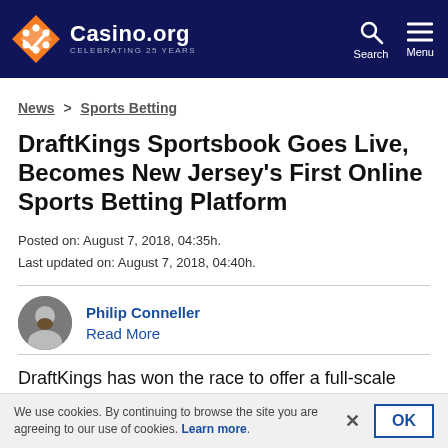Casino.org — CELEBRATING 25 YEARS
News > Sports Betting
DraftKings Sportsbook Goes Live, Becomes New Jersey's First Online Sports Betting Platform
Posted on: August 7, 2018, 04:35h.
Last updated on: August 7, 2018, 04:40h.
Philip Conneller
Read More
DraftKings has won the race to offer a full-scale digital sports betting platform in the New Jersey market, the first such
We use cookies. By continuing to browse the site you are agreeing to our use of cookies. Learn more.